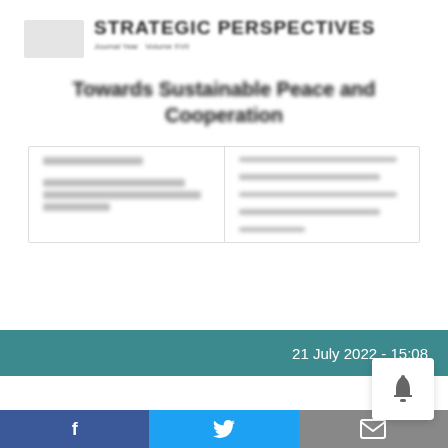[Figure (screenshot): Blurred screenshot of the cover of the Journal of Caucasus Strategic Perspectives showing the title 'STRATEGIC PERSPECTIVES', a subtitle line, and the article title 'Towards Sustainable Peace and Cooperation', with a two-column author/affiliation box below.]
21 July 2022 - 15:08
A new issue of the Journal of Caucasus Strategic Perspectives entitled has been released